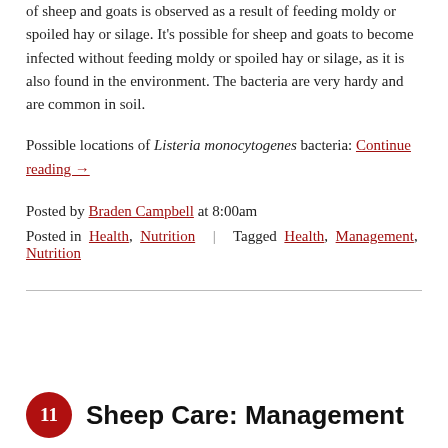of sheep and goats is observed as a result of feeding moldy or spoiled hay or silage. It's possible for sheep and goats to become infected without feeding moldy or spoiled hay or silage, as it is also found in the environment. The bacteria are very hardy and are common in soil.
Possible locations of Listeria monocytogenes bacteria: Continue reading →
Posted by Braden Campbell at 8:00am
Posted in Health, Nutrition | Tagged Health, Management, Nutrition
Sheep Care: Management